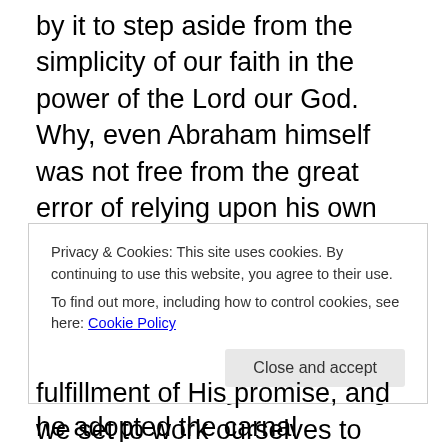by it to step aside from the simplicity of our faith in the power of the Lord our God. Why, even Abraham himself was not free from the great error of relying upon his own strength. God had promised to him that He would give him a son – Isaac, the child of promise. Abraham believed it, but at last, weary with waiting, he adopted the carnal expedient of taking to himself Hagar, to wife, and he fancied that Ishmael would most certainly be the fulfillment of God's promise; but instead of Ishmael's helping to fulfill the promise, he brought sorrow unto Abraham's heart, for God would not have it that Ishmael should dwell with
Privacy & Cookies: This site uses cookies. By continuing to use this website, you agree to their use. To find out more, including how to control cookies, see here: Cookie Policy
Close and accept
fulfillment of His promise, and we set to work ourselves to